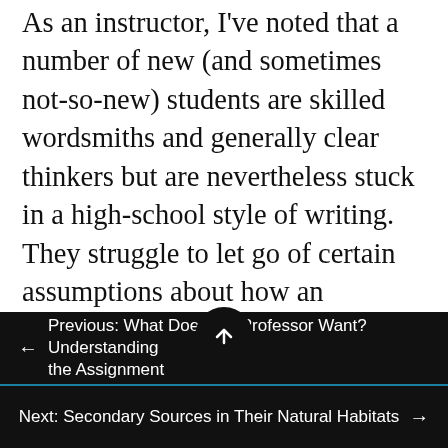As an instructor, I've noted that a number of new (and sometimes not-so-new) students are skilled wordsmiths and generally clear thinkers but are nevertheless stuck in a high-school style of writing. They struggle to let go of certain assumptions about how an academic paper should be. Chapter 1 points to the essay portion of the SAT as a representative artifact of the writing skills that K-12 education imparts. Some students who have mastered that form, and enjoyed a lot of success from doing so, assume that college writing is simply more of the same. The tools that go into a very basic kind of essay—often called the five-
← Previous: What Does the Professor Want? Understanding the Assignment
Next: Secondary Sources in Their Natural Habitats →